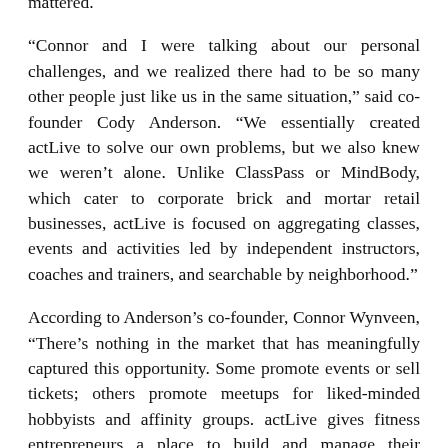mattered.
“Connor and I were talking about our personal challenges, and we realized there had to be so many other people just like us in the same situation,” said co-founder Cody Anderson. “We essentially created actLive to solve our own problems, but we also knew we weren’t alone. Unlike ClassPass or MindBody, which cater to corporate brick and mortar retail businesses, actLive is focused on aggregating classes, events and activities led by independent instructors, coaches and trainers, and searchable by neighborhood.”
According to Anderson’s co-founder, Connor Wynveen, “There’s nothing in the market that has meaningfully captured this opportunity. Some promote events or sell tickets; others promote meetups for liked-minded hobbyists and affinity groups. actLive gives fitness entrepreneurs a place to build and manage their business and maximize their earnings, while helping individuals stay active, meet new people, and deepen their connections to